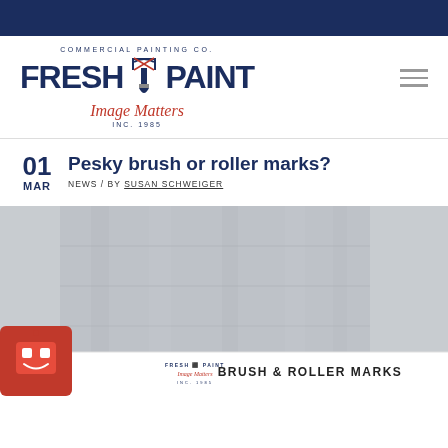[Figure (logo): Fresh Paint Commercial Painting Co. logo with paint brush icon, Image Matters tagline, Inc. 1985]
Pesky brush or roller marks?
NEWS / BY SUSAN SCHWEIGER — 01 MAR
[Figure (photo): Photo of painted wall surface showing brush and roller marks, with Fresh Paint logo overlay bar and red robot mascot icon at bottom left]